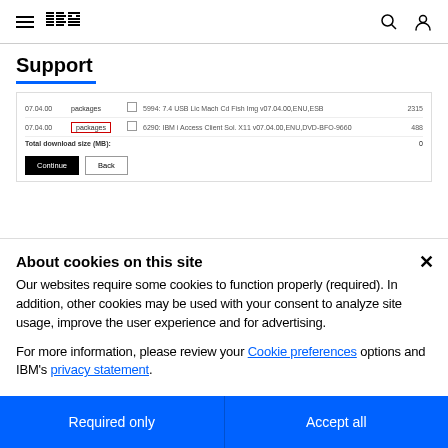IBM Support
Support
[Figure (screenshot): IBM Support page screenshot showing a file download table with rows for version 07.04.00, packages column, checkboxes, file descriptions (5994: 7.4 USB Lic Mach Cd Fish Img v07.04.00,ENU,ESB - size 2315; 6290: IBM i Access Client Sol. X11 v07.04.00,ENU,DVD-BFO-9660 - size 488), Total download size (MB): 0, and Continue/Back buttons.]
About cookies on this site
Our websites require some cookies to function properly (required). In addition, other cookies may be used with your consent to analyze site usage, improve the user experience and for advertising.
For more information, please review your Cookie preferences options and IBM's privacy statement.
Required only
Accept all